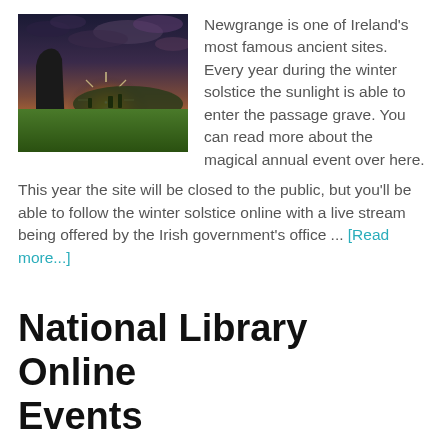[Figure (photo): Photograph of Newgrange ancient stone monument at sunset/sunrise with dramatic sky and green grass field]
Newgrange is one of Ireland's most famous ancient sites. Every year during the winter solstice the sunlight is able to enter the passage grave. You can read more about the magical annual event over here.
This year the site will be closed to the public, but you'll be able to follow the winter solstice online with a live stream being offered by the Irish government's office ... [Read more...]
National Library Online Events